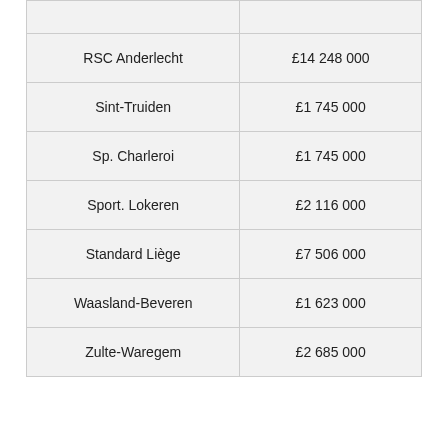| Club | Amount |
| --- | --- |
| RSC Anderlecht | £14 248 000 |
| Sint-Truiden | £1 745 000 |
| Sp. Charleroi | £1 745 000 |
| Sport. Lokeren | £2 116 000 |
| Standard Liège | £7 506 000 |
| Waasland-Beveren | £1 623 000 |
| Zulte-Waregem | £2 685 000 |